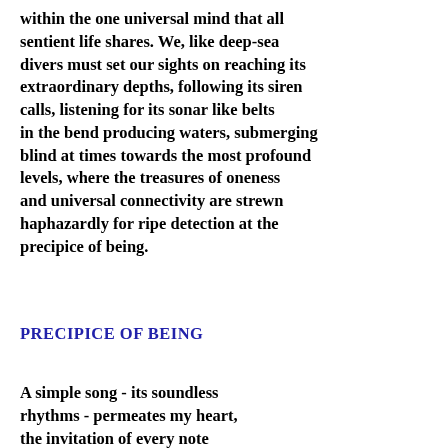within the one universal mind that all sentient life shares. We, like deep-sea divers must set our sights on reaching its extraordinary depths, following its siren calls, listening for its sonar like belts in the bend producing waters, submerging blind at times towards the most profound levels, where the treasures of oneness and universal connectivity are strewn haphazardly for ripe detection at the precipice of being.
PRECIPICE OF BEING
A simple song - its soundless rhythms - permeates my heart, the invitation of every note